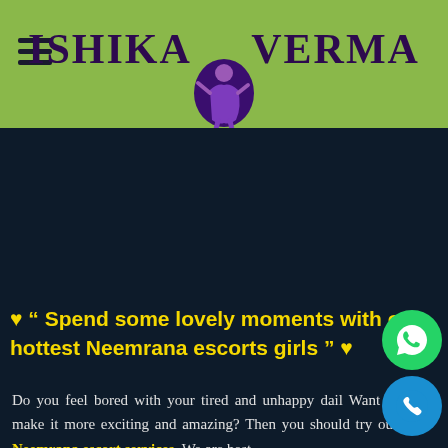ISHIKA VERMA
❤ ““ Spend some lovely moments with our hottest Neemrana escorts girls ”” ❤
Do you feel bored with your tired and unhappy daily life? Want to make it more exciting and amazing? Then you should try our Neemrana escort services. We are best